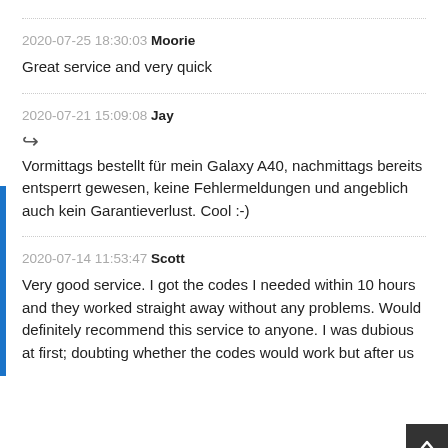2020-07-25 18:30:03 Moorie
Great service and very quick
2020-07-21 15:09:08 Jay
Vormittags bestellt für mein Galaxy A40, nachmittags bereits entsperrt gewesen, keine Fehlermeldungen und angeblich auch kein Garantieverlust. Cool :-)
2020-07-14 11:53:47 Scott
Very good service. I got the codes I needed within 10 hours and they worked straight away without any problems. Would definitely recommend this service to anyone. I was dubious at first; doubting whether the codes would work but after us